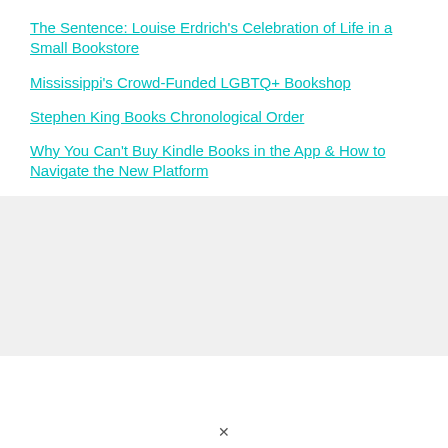The Sentence: Louise Erdrich's Celebration of Life in a Small Bookstore
Mississippi's Crowd-Funded LGBTQ+ Bookshop
Stephen King Books Chronological Order
Why You Can't Buy Kindle Books in the App & How to Navigate the New Platform